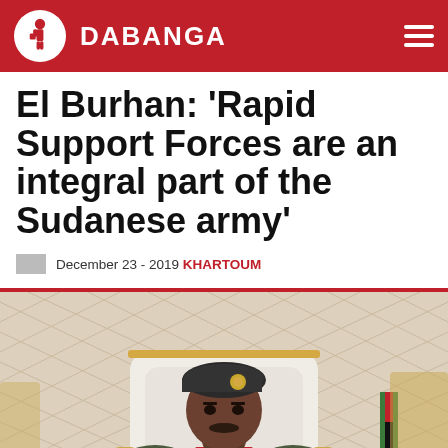DABANGA
El Burhan: ‘Rapid Support Forces are an integral part of the Sudanese army’
December 23 - 2019 KHARTOUM
[Figure (photo): A Sudanese military officer in camouflage uniform and black beret with insignia sits in a white chair. The setting appears to be an official meeting room with decorative white paneling and gold-trimmed furniture. A flag is visible in the background.]